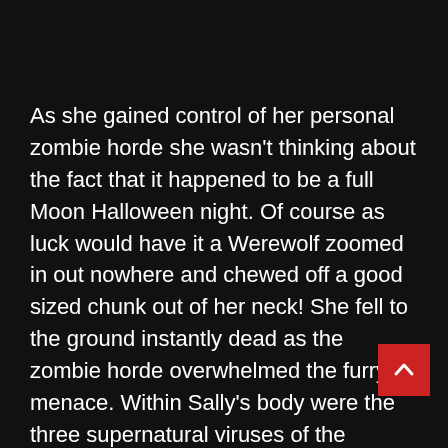As she gained control of her personal zombie horde she wasn't thinking about the fact that it happened to be a full Moon Halloween night. Of course as luck would have it a Werewolf zoomed in out nowhere and chewed off a good sized chunk out of her neck! She fell to the ground instantly dead as the zombie horde overwhelmed the furry menace. Within Sally's body were the three supernatural viruses of the vampire, werewolf, and zombie. Now dead with nearly all her blood drained the vampire should have won. However her body was deeply infused with dark magics that supported all three viruses efforts to survive. They integrated into one symbiotic organism. Sally was now the worlds first WereZombpire! Unfortunately, for her this transformation came at the cost of her ability to